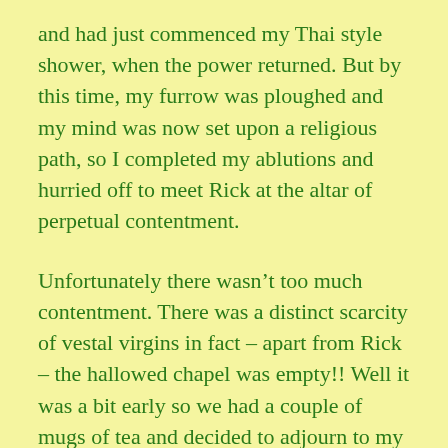and had just commenced my Thai style shower, when the power returned. But by this time, my furrow was ploughed and my mind was now set upon a religious path, so I completed my ablutions and hurried off to meet Rick at the altar of perpetual contentment.
Unfortunately there wasn’t too much contentment. There was a distinct scarcity of vestal virgins in fact – apart from Rick – the hallowed chapel was empty!! Well it was a bit early so we had a couple of mugs of tea and decided to adjourn to my establishment of yesterday for lunch and also because I hoped to meet the lovely Neung again.